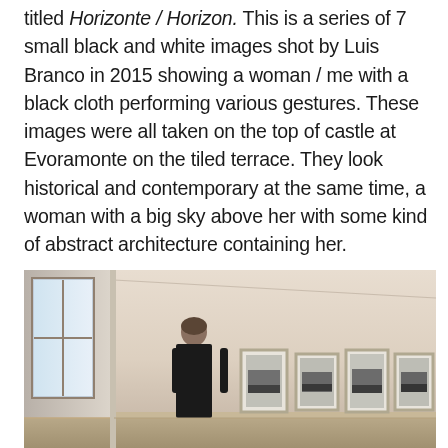titled Horizonte / Horizon. This is a series of 7 small black and white images shot by Luis Branco in 2015 showing a woman / me with a black cloth performing various gestures. These images were all taken on the top of castle at Evoramonte on the tiled terrace. They look historical and contemporary at the same time, a woman with a big sky above her with some kind of abstract architecture containing her.
[Figure (photo): Interior of a gallery space with white/cream walls. A person with short hair wearing black stands with their back to the viewer, looking at a row of small framed black and white photographs hung on the right wall. A window is visible on the left wall letting in natural light.]